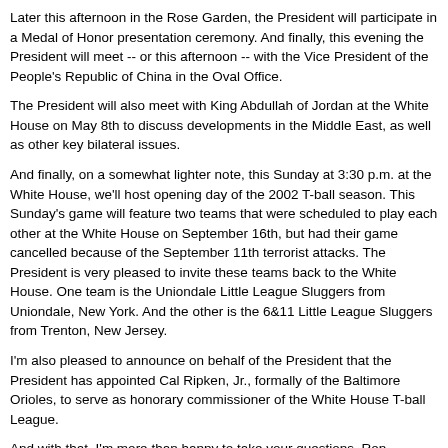Later this afternoon in the Rose Garden, the President will participate in a Medal of Honor presentation ceremony. And finally, this evening the President will meet -- or this afternoon -- with the Vice President of the People's Republic of China in the Oval Office.
The President will also meet with King Abdullah of Jordan at the White House on May 8th to discuss developments in the Middle East, as well as other key bilateral issues.
And finally, on a somewhat lighter note, this Sunday at 3:30 p.m. at the White House, we'll host opening day of the 2002 T-ball season. This Sunday's game will feature two teams that were scheduled to play each other at the White House on September 16th, but had their game cancelled because of the September 11th terrorist attacks. The President is very pleased to invite these teams back to the White House. One team is the Uniondale Little League Sluggers from Uniondale, New York. And the other is the 6&11 Little League Sluggers from Trenton, New Jersey.
I'm also pleased to announce on behalf of the President that the President has appointed Cal Ripken, Jr., formally of the Baltimore Orioles, to serve as honorary commissioner of the White House T-ball League.
And with that, I'm more than happy to take your questions. Ron.
Q Can you give us a readout on the Singapore meeting? And when is the Prime Minister of Israel coming to the White House?
MR. FLEISCHER: On the second question, the exact date is not yet determined. I think we're looking most likely at some time next week. We'll give you an exact date once we have it.